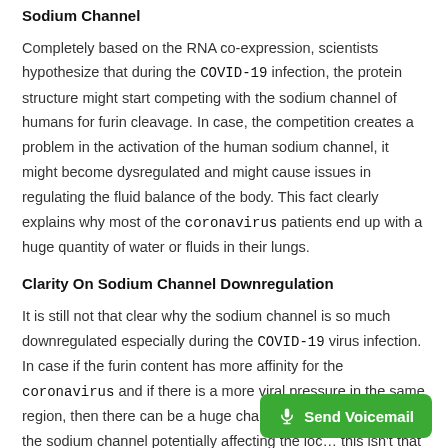Sodium Channel
Completely based on the RNA co-expression, scientists hypothesize that during the COVID-19 infection, the protein structure might start competing with the sodium channel of humans for furin cleavage. In case, the competition creates a problem in the activation of the human sodium channel, it might become dysregulated and might cause issues in regulating the fluid balance of the body. This fact clearly explains why most of the coronavirus patients end up with a huge quantity of water or fluids in their lungs.
Clarity On Sodium Channel Downregulation
It is still not that clear why the sodium channel is so much downregulated especially during the COVID-19 virus infection. In case if the furin content has more affinity for the coronavirus and if there is a more viral pressure in the same region, then there can be a huge chance of the alpha unit of the sodium channel potentially affecting the loc... this isn't that much clear, it surely is a very interesting hypothesis.